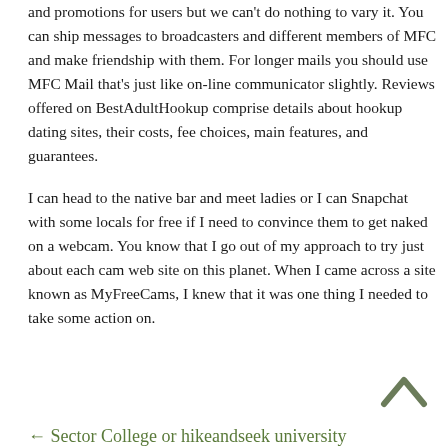and promotions for users but we can't do nothing to vary it. You can ship messages to broadcasters and different members of MFC and make friendship with them. For longer mails you should use MFC Mail that's just like on-line communicator slightly. Reviews offered on BestAdultHookup comprise details about hookup dating sites, their costs, fee choices, main features, and guarantees.
I can head to the native bar and meet ladies or I can Snapchat with some locals for free if I need to convince them to get naked on a webcam. You know that I go out of my approach to try just about each cam web site on this planet. When I came across a site known as MyFreeCams, I knew that it was one thing I needed to take some action on.
[Figure (other): Back to top chevron/arrow icon pointing upward]
← Sector College or hikeandseek university